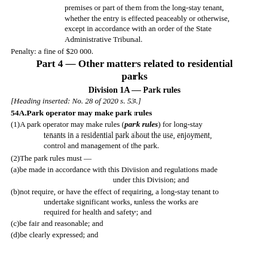premises or part of them from the long-stay tenant, whether the entry is effected peaceably or otherwise, except in accordance with an order of the State Administrative Tribunal.
Penalty: a fine of $20 000.
Part 4 — Other matters related to residential parks
Division 1A — Park rules
[Heading inserted: No. 28 of 2020 s. 53.]
54A. Park operator may make park rules
(1) A park operator may make rules (park rules) for long-stay tenants in a residential park about the use, enjoyment, control and management of the park.
(2) The park rules must —
(a) be made in accordance with this Division and regulations made under this Division; and
(b) not require, or have the effect of requiring, a long-stay tenant to undertake significant works, unless the works are required for health and safety; and
(c) be fair and reasonable; and
(d) be clearly expressed; and